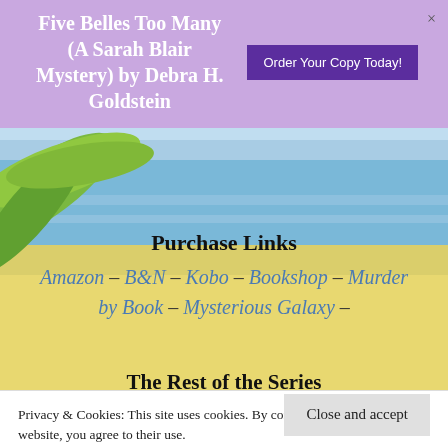Five Belles Too Many (A Sarah Blair Mystery) by Debra H. Goldstein
Purchase Links
Amazon – B&N – Kobo – Bookshop – Murder by Book – Mysterious Galaxy –
The Rest of the Series
[Figure (photo): Beach background with palm leaves and ocean]
Privacy & Cookies: This site uses cookies. By continuing to use this website, you agree to their use.
To find out more, including how to control cookies, see here:
Cookie Policy
Close and accept